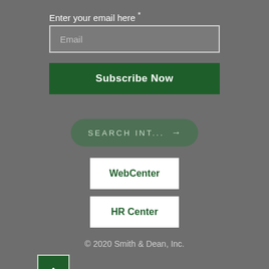Enter your email here *
Email
Subscribe Now
SEARCH INT... →
WebCenter
HR Center
© 2020 Smith & Dean, Inc.